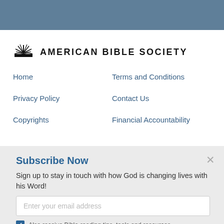[Figure (logo): American Bible Society logo with open book icon and bold text]
Home
Terms and Conditions
Privacy Policy
Contact Us
Copyrights
Financial Accountability
Subscribe Now
Sign up to stay in touch with how God is changing lives with his Word!
Enter your email address
Also receive Bible-reading tips, tools and resources.